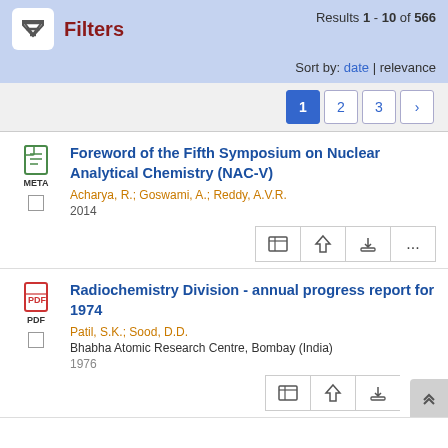Filters | Results 1 - 10 of 566 | Sort by: date | relevance
1  2  3  >
Foreword of the Fifth Symposium on Nuclear Analytical Chemistry (NAC-V)
Acharya, R.; Goswami, A.; Reddy, A.V.R.
2014
Radiochemistry Division - annual progress report for 1974
Patil, S.K.; Sood, D.D.
Bhabha Atomic Research Centre, Bombay (India)
1976